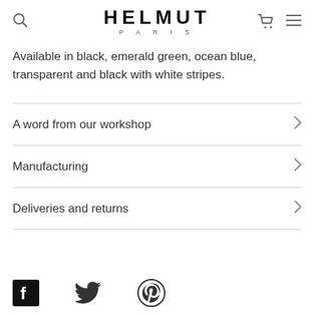HELMUT PARIS
Available in black, emerald green, ocean blue, transparent and black with white stripes.
A word from our workshop
Manufacturing
Deliveries and returns
[Figure (logo): Social media icons: Facebook, Twitter, Pinterest]